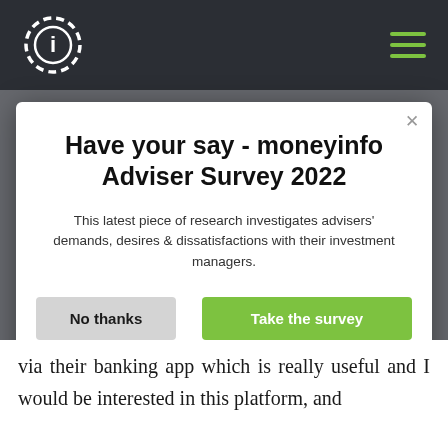[Figure (logo): moneyinfo logo: circular dashed border with 'i' in center]
[Figure (other): Hamburger menu icon with three green horizontal lines]
Have your say - moneyinfo Adviser Survey 2022
This latest piece of research investigates advisers' demands, desires & dissatisfactions with their investment managers.
No thanks
Take the survey
powered by SurveyMonkey
via their banking app which is really useful and I would be interested in this platform, and